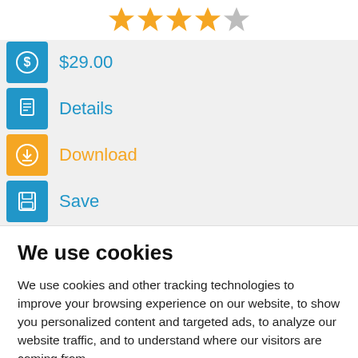[Figure (other): Star rating showing 4 out of 5 stars, 4 filled orange stars and 1 grey star]
$29.00
Details
Download
Save
We use cookies
We use cookies and other tracking technologies to improve your browsing experience on our website, to show you personalized content and targeted ads, to analyze our website traffic, and to understand where our visitors are coming from.
I agree   Change my preferences